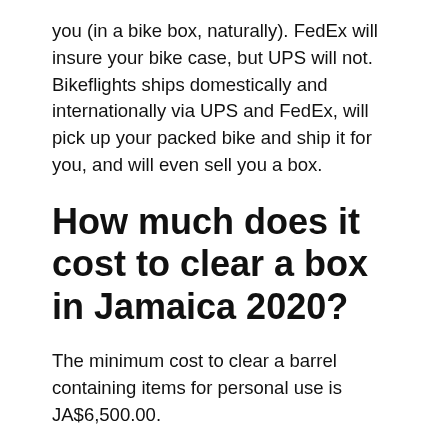you (in a bike box, naturally). FedEx will insure your bike case, but UPS will not. Bikeflights ships domestically and internationally via UPS and FedEx, will pick up your packed bike and ship it for you, and will even sell you a box.
How much does it cost to clear a box in Jamaica 2020?
The minimum cost to clear a barrel containing items for personal use is JA$6,500.00.